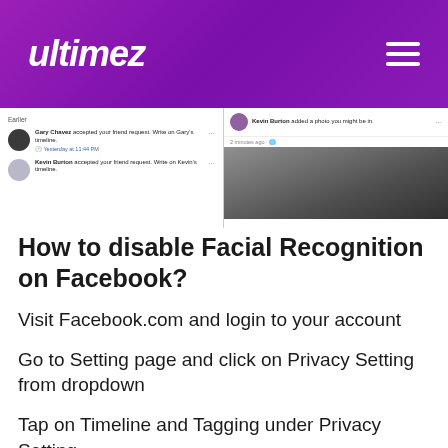ultimez
[Figure (screenshot): Facebook notifications screenshot showing Gary Chavez and Kevin Burton friend request acceptances on the left, and Kevin Burton photo tag notification on the right]
How to disable Facial Recognition on Facebook?
Visit Facebook.com and login to your account
Go to Setting page and click on Privacy Setting from dropdown
Tap on Timeline and Tagging under Privacy Setting
Go to the option "How can I manage